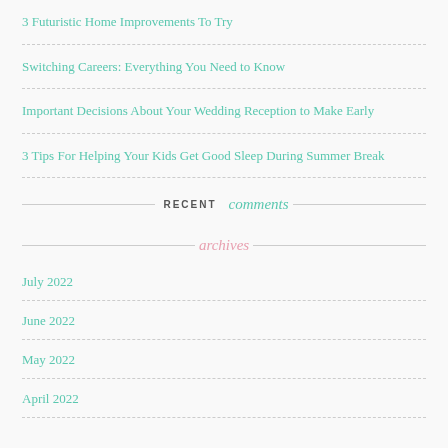3 Futuristic Home Improvements To Try
Switching Careers: Everything You Need to Know
Important Decisions About Your Wedding Reception to Make Early
3 Tips For Helping Your Kids Get Good Sleep During Summer Break
RECENT comments
archives
July 2022
June 2022
May 2022
April 2022